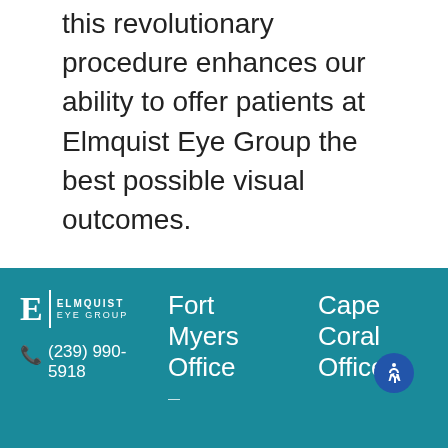this revolutionary procedure enhances our ability to offer patients at Elmquist Eye Group the best possible visual outcomes.
If you notice changes in your vision and think cataracts may be causing them, we encourage you to give Elmquist Eye Group a call at (239) 990-5918 to find out how we can help.
Elmquist Eye Group | (239) 990-5918 | Fort Myers Office | Cape Coral Office